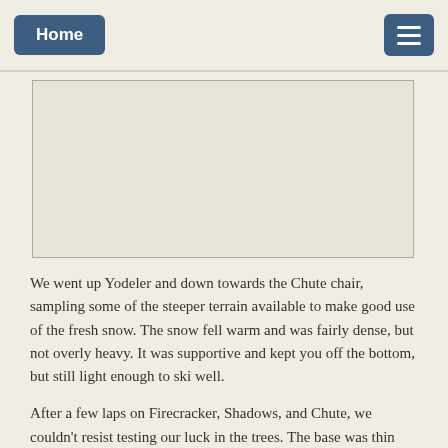Home
[Figure (photo): A large image placeholder box, light beige/cream colored with a thin border, representing a photograph on the page.]
We went up Yodeler and down towards the Chute chair, sampling some of the steeper terrain available to make good use of the fresh snow. The snow fell warm and was fairly dense, but not overly heavy. It was supportive and kept you off the bottom, but still light enough to ski well.
After a few laps on Firecracker, Shadows, and Chute, we couldn't resist testing our luck in the trees. The base was thin and not fully loaded out with a generous layer.